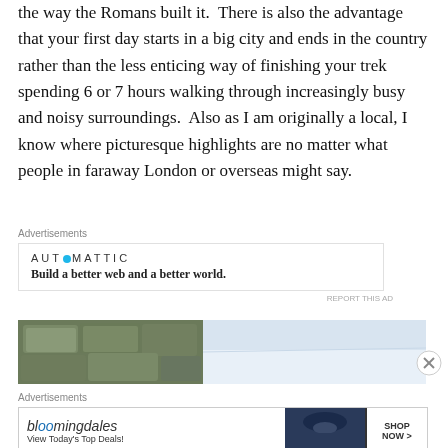the way the Romans built it.  There is also the advantage that your first day starts in a big city and ends in the country rather than the less enticing way of finishing your trek spending 6 or 7 hours walking through increasingly busy and noisy surroundings.  Also as I am originally a local, I know where picturesque highlights are no matter what people in faraway London or overseas might say.
Advertisements
[Figure (other): Automattic advertisement: logo with blue dot and tagline 'Build a better web and a better world.']
REPORT THIS AD
[Figure (photo): Partial photograph showing stone wall on the left and pale sky on the right, appears to be an outdoor landscape photo.]
Advertisements
[Figure (other): Bloomingdales advertisement: logo, tagline 'View Today's Top Deals!', image of woman in hat, and 'SHOP NOW >' button.]
REPORT THIS AD